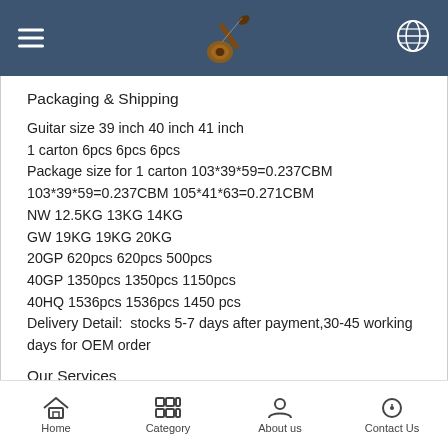Navigation header with hamburger menu, guitar logo, and globe icon
Packaging & Shipping
Guitar size 39 inch 40 inch 41 inch
1 carton 6pcs 6pcs 6pcs
Package size for 1 carton 103*39*59=0.237CBM 103*39*59=0.237CBM 105*41*63=0.271CBM
NW 12.5KG 13KG 14KG
GW 19KG 19KG 20KG
20GP 620pcs 620pcs 500pcs
40GP 1350pcs 1350pcs 1150pcs
40HQ 1536pcs 1536pcs 1450 pcs
Delivery Detail:  stocks 5-7 days after payment,30-45 working days for OEM order
Our Services
Home | Category | About us | Contact Us